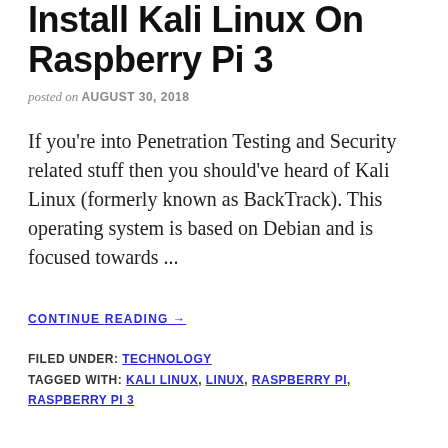Install Kali Linux On Raspberry Pi 3
posted on AUGUST 30, 2018
If you're into Penetration Testing and Security related stuff then you should've heard of Kali Linux (formerly known as BackTrack). This operating system is based on Debian and is focused towards ...
CONTINUE READING →
FILED UNDER: TECHNOLOGY
TAGGED WITH: KALI LINUX, LINUX, RASPBERRY PI, RASPBERRY PI 3